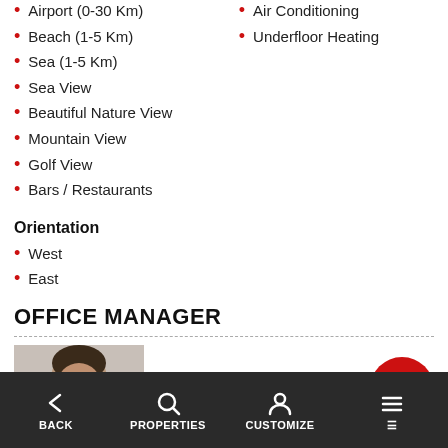Airport (0-30 Km)
Beach (1-5 Km)
Sea (1-5 Km)
Sea View
Beautiful Nature View
Mountain View
Golf View
Bars / Restaurants
Air Conditioning
Underfloor Heating
Orientation
West
East
OFFICE MANAGER
Özkan Tekçe
Chief Operating Officer
BACK  PROPERTIES  CUSTOMIZE  ☰